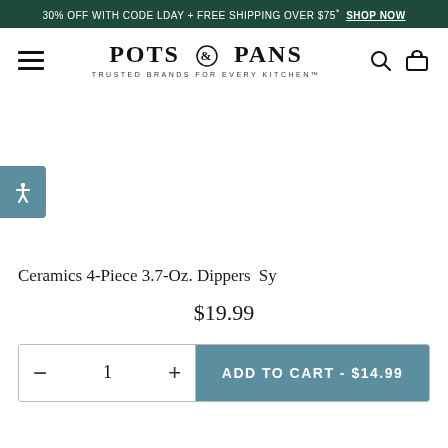30% OFF WITH CODE LDAY + FREE SHIPPING OVER $75* SHOP NOW
[Figure (logo): Pots & Pans logo with text 'TRUSTED BRANDS FOR EVERY KITCHEN']
[Figure (other): Product image area (blank/white) with accessibility button on left]
Ceramics 4-Piece 3.7-Oz. Dippers
$19.99
ADD TO CART - $14.99